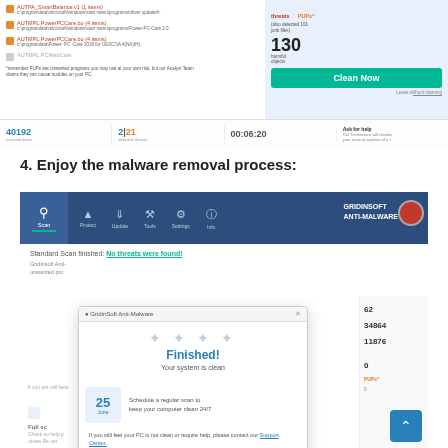[Figure (screenshot): Anti-malware scan results showing detected threats including AUTPA, PowerPCCare items, with 130 harmful objects found. Status bar shows 40192 scanned items, 2|21 detected threats, 00:06:20 timer. Clean Now button visible. PUPs footnote at bottom.]
4. Enjoy the malware removal process:
[Figure (screenshot): GridinSoft Anti-Malware application screenshot showing Standard Scan finished with 'No threats were found!' message. A dialog overlay shows 'Finished! Your system is clean' with a calendar icon showing June 25, schedule scan text, support center link, and Close button. Navigation bar shows Scan, Protect, Update, Tools, Settings, Info tabs.]